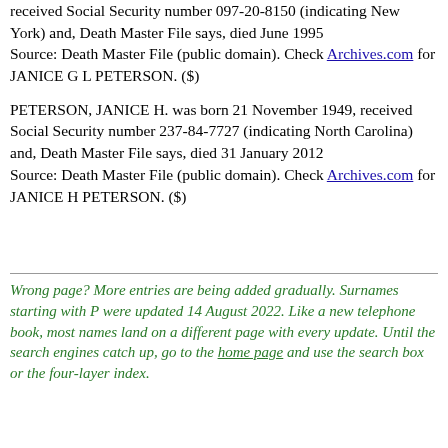received Social Security number 097-20-8150 (indicating New York) and, Death Master File says, died June 1995
Source: Death Master File (public domain). Check Archives.com for JANICE G L PETERSON. ($)
PETERSON, JANICE H. was born 21 November 1949, received Social Security number 237-84-7727 (indicating North Carolina) and, Death Master File says, died 31 January 2012
Source: Death Master File (public domain). Check Archives.com for JANICE H PETERSON. ($)
Wrong page? More entries are being added gradually. Surnames starting with P were updated 14 August 2022. Like a new telephone book, most names land on a different page with every update. Until the search engines catch up, go to the home page and use the search box or the four-layer index.